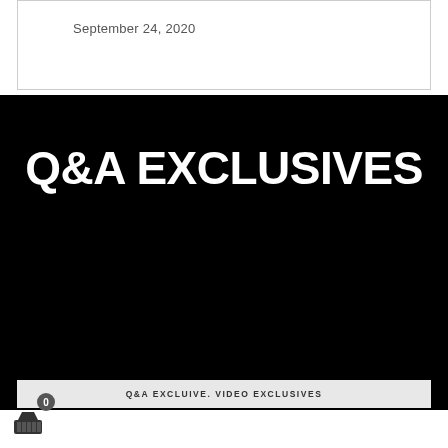September 24, 2020
Q&A EXCLUSIVES
Q&A EXCLUIVE. VIDEO EXCLUSIVES